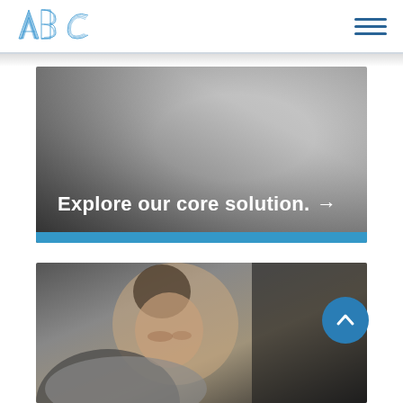[Figure (logo): ABC logo in blue outline striped lettering style]
[Figure (other): Hamburger menu icon with three horizontal blue lines]
[Figure (photo): Hero banner image showing a gradient from dark at bottom-left to light gray, with white bold text reading 'Explore our core solution.' and an arrow, and a blue stripe at the very bottom]
[Figure (photo): Photo of a young woman with braided hair, wearing a gray hoodie, looking downward, with a circular blue back-to-top button with a white chevron arrow overlaid at the right]